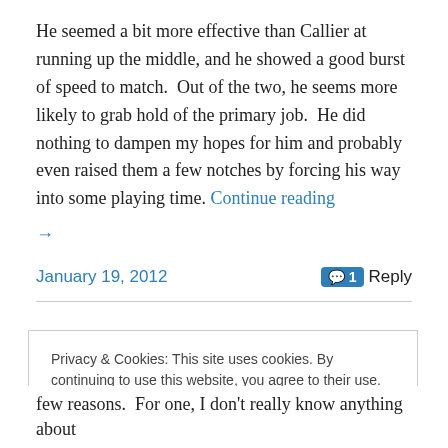He seemed a bit more effective than Callier at running up the middle, and he showed a good burst of speed to match.  Out of the two, he seems more likely to grab hold of the primary job.  He did nothing to dampen my hopes for him and probably even raised them a few notches by forcing his way into some playing time. Continue reading →
January 19, 2012
1 Reply
Privacy & Cookies: This site uses cookies. By continuing to use this website, you agree to their use. To find out more, including how to control cookies, see here: Cookie Policy
Close and accept
few reasons.  For one, I don't really know anything about